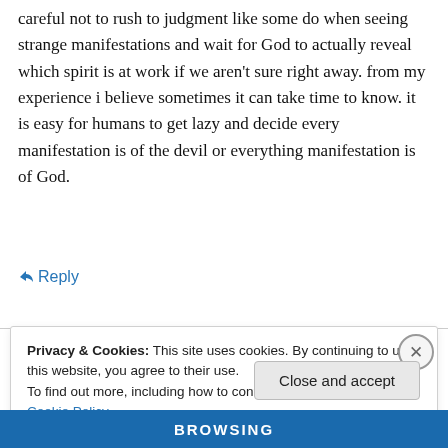careful not to rush to judgment like some do when seeing strange manifestations and wait for God to actually reveal which spirit is at work if we aren't sure right away. from my experience i believe sometimes it can take time to know. it is easy for humans to get lazy and decide every manifestation is of the devil or everything manifestation is of God.
↪ Reply
Privacy & Cookies: This site uses cookies. By continuing to use this website, you agree to their use. To find out more, including how to control cookies, see here: Cookie Policy
Close and accept